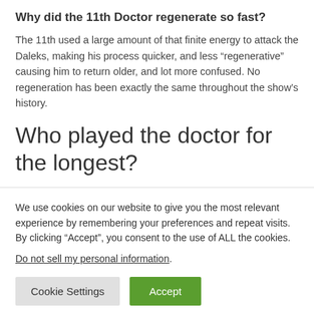Why did the 11th Doctor regenerate so fast?
The 11th used a large amount of that finite energy to attack the Daleks, making his process quicker, and less “regenerative” causing him to return older, and lot more confused. No regeneration has been exactly the same throughout the show’s history.
Who played the doctor for the longest?
We use cookies on our website to give you the most relevant experience by remembering your preferences and repeat visits. By clicking “Accept”, you consent to the use of ALL the cookies.
Do not sell my personal information.
Cookie Settings
Accept